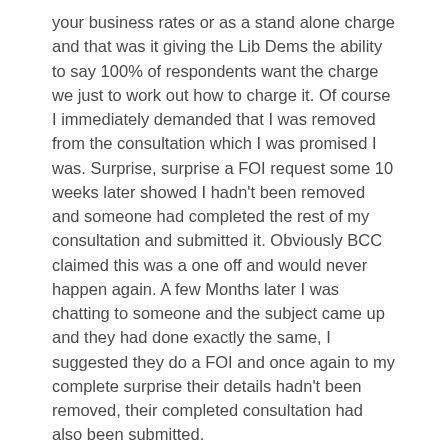your business rates or as a stand alone charge and that was it giving the Lib Dems the ability to say 100% of respondents want the charge we just to work out how to charge it. Of course I immediately demanded that I was removed from the consultation which I was promised I was. Surprise, surprise a FOI request some 10 weeks later showed I hadn't been removed and someone had completed the rest of my consultation and submitted it. Obviously BCC claimed this was a one off and would never happen again. A few Months later I was chatting to someone and the subject came up and they had done exactly the same, I suggested they do a FOI and once again to my complete surprise their details hadn't been removed, their completed consultation had also been submitted.
Anthony, this is how fucks I give
………………………………………………………………………………………………………………………………………………………………………….loads